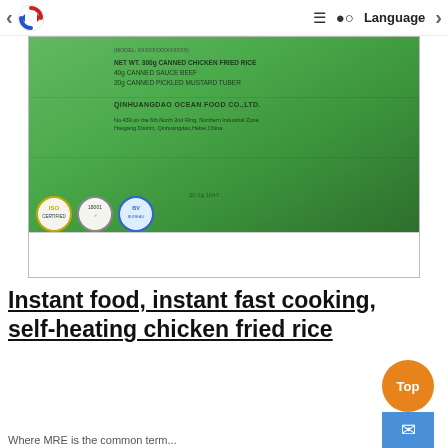Language
[Figure (photo): Green packaged product bag labeled: NET WT. 300g CANNED CHICKEN FRIED RICE, 40g CANNED SAUCE BEEF, 20g CANNED PICKLED MUSTARD TUBER. QINHUANGDAO OCEAN FOOD CO.,LTD. No.439 on the 6th,North 2nd Ring, Northern Industrial Zone, Hasgang District, Qinhuangdao,Hebei,China. ISO and 18001 certification badges visible at bottom.]
Instant food, instant fast cooking, self-heating chicken fried rice
Where MRE is the common term...